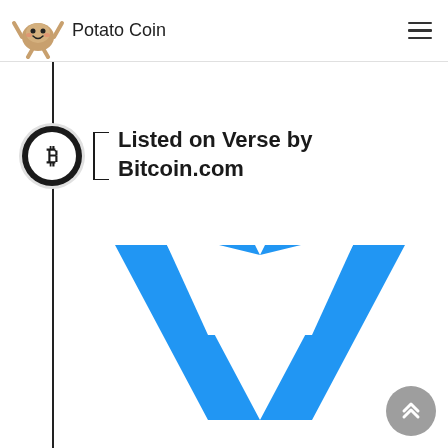Potato Coin
Listed on Verse by Bitcoin.com
[Figure (logo): Verse by Bitcoin.com logo — a bold blue geometric 'V' shape with angular arrow-like cutout, styled in bright blue (#1a8fe3) on white background]